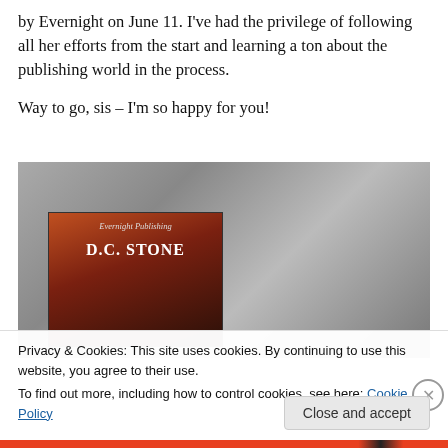by Evernight on June 11. I've had the privilege of following all her efforts from the start and learning a ton about the publishing world in the process.
Way to go, sis – I'm so happy for you!
[Figure (photo): Black and white romantic photo of a couple nearly kissing, with a book cover overlay showing 'Evernight Publishing' and 'D.C. STONE' text]
Privacy & Cookies: This site uses cookies. By continuing to use this website, you agree to their use.
To find out more, including how to control cookies, see here: Cookie Policy
Close and accept